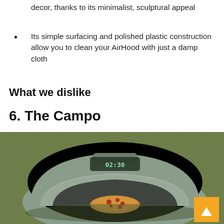decor, thanks to its minimalist, sculptural appeal
Its simple surfacing and polished plastic construction allow you to clean your AirHood with just a damp cloth
What we dislike
6.  The Campo
[Figure (photo): A grey dome-shaped air fryer or cooking appliance called The Campo, sitting on green grass/turf. The device is open showing a pizza inside, with a digital display showing 02:30. There is an orange back-to-top button in the bottom right corner.]